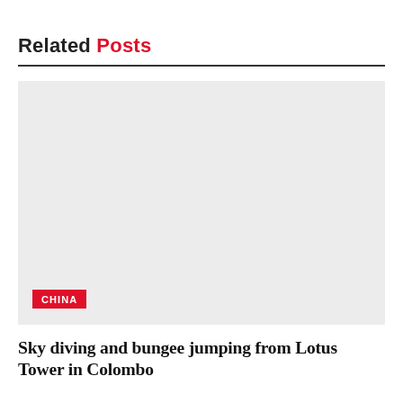Related Posts
[Figure (photo): Large light gray placeholder image with a red 'CHINA' category tag in the bottom left corner]
Sky diving and bungee jumping from Lotus Tower in Colombo